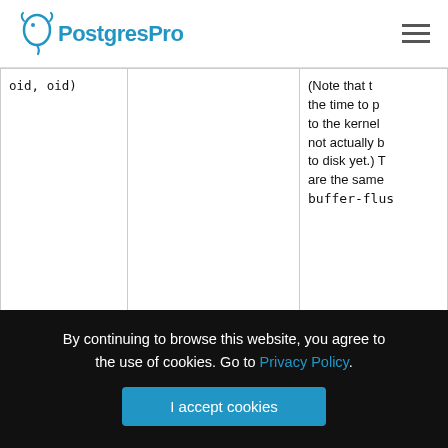PostgresPro
| Name | Parameters | Description |
| --- | --- | --- |
| oid, oid) | (Note that the time to p to the kernel not actually b to disk yet.) T are the same buffer-flus |
| buffer-write-dirty-start | (ForkNumber, BlockNumber, Oid, Oid, Oid) | Probe that fir server proce write a dirty b happens ofte that shared_ |
By continuing to browse this website, you agree to the use of cookies. Go to Privacy Policy.